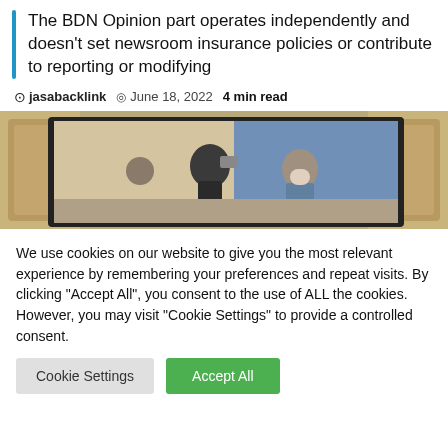The BDN Opinion part operates independently and doesn't set newsroom insurance policies or contribute to reporting or modifying
jasabacklink   June 18, 2022   4 min read
[Figure (photo): A large projection screen showing people photographing or filming a scene, flanked by ornate wooden panels in what appears to be a formal chamber or hearing room.]
We use cookies on our website to give you the most relevant experience by remembering your preferences and repeat visits. By clicking "Accept All", you consent to the use of ALL the cookies. However, you may visit "Cookie Settings" to provide a controlled consent.